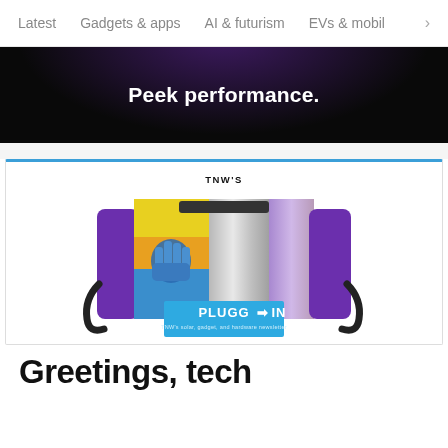Latest   Gadgets & apps   AI & futurism   EVs & mobil  >
[Figure (illustration): Dark advertisement banner with text 'Peek performance.' in white bold font on black/dark purple background]
[Figure (illustration): TNW's Plugged In newsletter promotional image showing a colorful futuristic device/gadget resembling a VR headset or boombox with purple sides, metallic center, and a colorful panel with a robotic hand. Blue badge reads 'PLUGGED IN' with subtitle 'TNW's solar, gadget, and hardware newsletter']
Greetings, tech